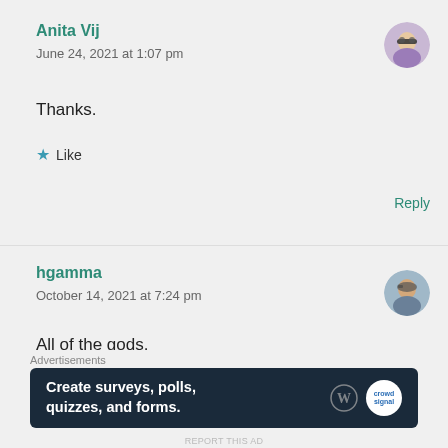Anita Vij
June 24, 2021 at 1:07 pm
[Figure (photo): Circular avatar photo of Anita Vij, a woman with sunglasses]
Thanks.
★ Like
Reply
hgamma
October 14, 2021 at 7:24 pm
[Figure (photo): Circular avatar photo of hgamma, a man]
All of the gods.
Advertisements
[Figure (infographic): Dark blue advertisement banner: 'Create surveys, polls, quizzes, and forms.' with WordPress and Crowdsignal logos]